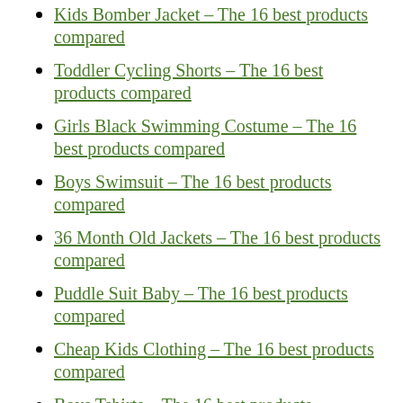Kids Bomber Jacket – The 16 best products compared
Toddler Cycling Shorts – The 16 best products compared
Girls Black Swimming Costume – The 16 best products compared
Boys Swimsuit – The 16 best products compared
36 Month Old Jackets – The 16 best products compared
Puddle Suit Baby – The 16 best products compared
Cheap Kids Clothing – The 16 best products compared
Boys Tshirts – The 16 best products compared